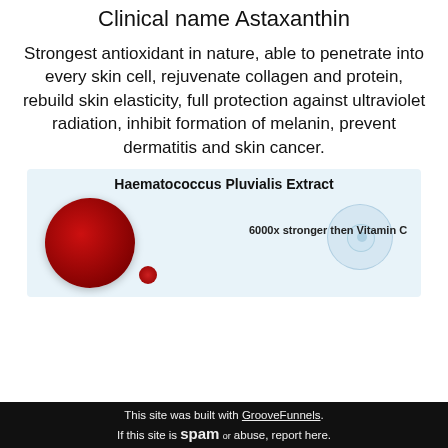Clinical name Astaxanthin
Strongest antioxidant in nature, able to penetrate into every skin cell, rejuvenate collagen and protein, rebuild skin elasticity, full protection against ultraviolet radiation, inhibit formation of melanin, prevent dermatitis and skin cancer.
[Figure (infographic): Haematococcus Pluvialis Extract infographic showing a deep red powder/substance in a circular dish, with bubble cell diagrams and text '6000x stronger then Vitamin C']
This site was built with GrooveFunnels. If this site is spam or abuse, report here.